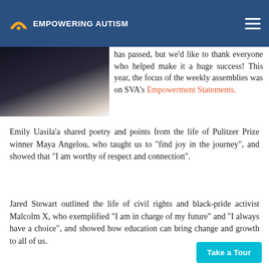EMPOWERING AUTISM
[Figure (photo): Partial photo of a person in dark clothing, cropped at top left of content area]
has passed, but we'd like to thank everyone who helped make it a huge success! This year, the focus of the weekly assemblies was on SVA's Empowerment Statements.
Emily Uasila'a shared poetry and points from the life of Pulitzer Prize winner Maya Angelou, who taught us to "find joy in the journey", and showed that "I am worthy of respect and connection".
Jared Stewart outlined the life of civil rights and black-pride activist Malcolm X, who exemplified "I am in charge of my future" and "I always have a choice", and showed how education can bring change and growth to all of us.